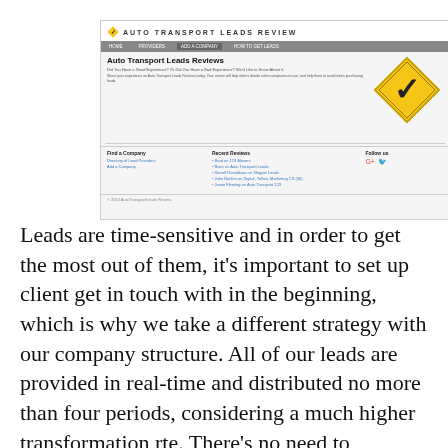[Figure (screenshot): Screenshot of Auto Transport Leads Review website showing header with checkmark logo, navigation bar, page title 'Auto Transport Leads Reviews', large yellow diamond checkmark graphic, and footer columns with Find a Company, Recent Reviews, and Follow us sections.]
Leads are time-sensitive and in order to get the most out of them, it's important to set up client get in touch with in the beginning, which is why we take a different strategy with our company structure. All of our leads are provided in real-time and distributed no more than four periods, considering a much higher transformation rte. There's no need to